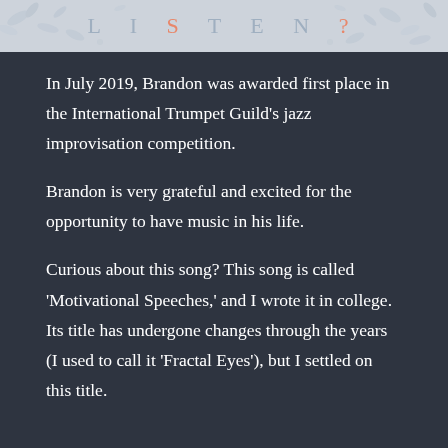LISTEN?
In July 2019, Brandon was awarded first place in the International Trumpet Guild's jazz improvisation competition.
Brandon is very grateful and excited for the opportunity to have music in his life.
Curious about this song? This song is called 'Motivational Speeches,' and I wrote it in college. Its title has undergone changes through the years (I used to call it 'Fractal Eyes'), but I settled on this title.
Like the site? It was designed and coded from